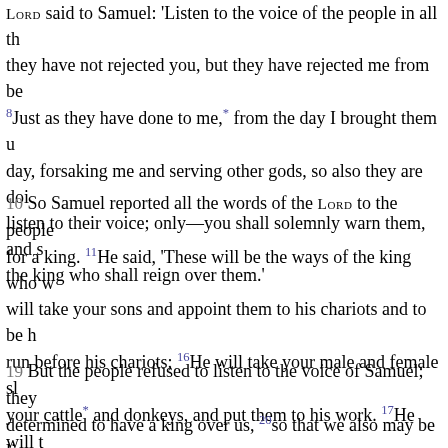LORD said to Samuel: 'Listen to the voice of the people in all that they have not rejected you, but they have rejected me from being king. 8Just as they have done to me,* from the day I brought them up day, forsaking me and serving other gods, so also they are doing; listen to their voice; only—you shall solemnly warn them, and show them the ways of the king who shall reign over them.'
10 So Samuel reported all the words of the LORD to the people who were asking for a king. 11He said, 'These will be the ways of the king who will reign over you: he will take your sons and appoint them to his chariots and to be his horsemen, and to run before his chariots; 16He will take your male and female slaves, and the best of your cattle* and donkeys, and put them to his work. 17He will take one-tenth of your flocks, and you shall be his slaves. 18And in that day you will cry out because of your king, whom you have chosen for yourselves; but the LORD will not answer you in that day.'
19 But the people refused to listen to the voice of Samuel; they said, 'No! but we are determined to have a king over us, 20so that we also may be like other nations, and that our king may govern us and go out before us and fight our battles.'